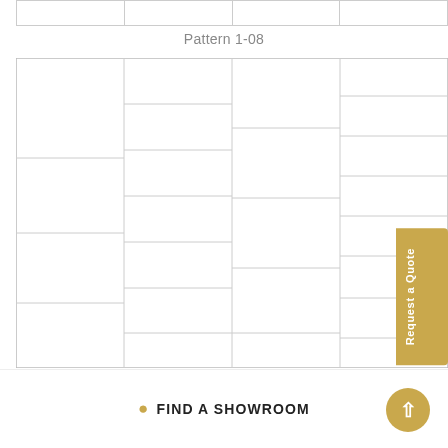[Figure (schematic): Top partial row of a tile/brick pattern table, cut off at top of page, showing horizontal cells separated by grey borders.]
Pattern 1-08
[Figure (schematic): Main tile/brick laying pattern diagram labeled Pattern 1-08. Shows a 4-column grid of rectangular cells with staggered horizontal joints simulating a brick offset pattern. Cells are arranged with alternating row offsets across 4 columns and approximately 8-9 rows visible, all bordered by thin grey lines on a white background.]
Request a Quote
FIND A SHOWROOM